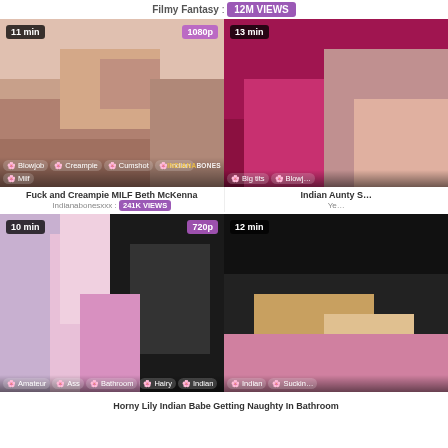Filmy Fantasy : 12M VIEWS
[Figure (screenshot): Thumbnail: Fuck and Creampie MILF Beth McKenna, 11 min, 1080p, tags: Blowjob, Creampie, Cumshot, Indian, Milf]
[Figure (screenshot): Thumbnail: Indian Aunty S..., 13 min, partial view, tags: Big tits, Blowj...]
Fuck and Creampie MILF Beth McKenna
Indianabonesxxx : 241K VIEWS
Indian Aunty S...
[Figure (screenshot): Thumbnail: Horny Lily Indian Babe Getting Naughty In Bathroom, 10 min, 720p, tags: Amateur, Ass, Bathroom, Hairy, Indian]
[Figure (screenshot): Thumbnail: partial right side, 12 min, tags: Indian, Suckin...]
Horny Lily Indian Babe Getting Naughty In Bathroom